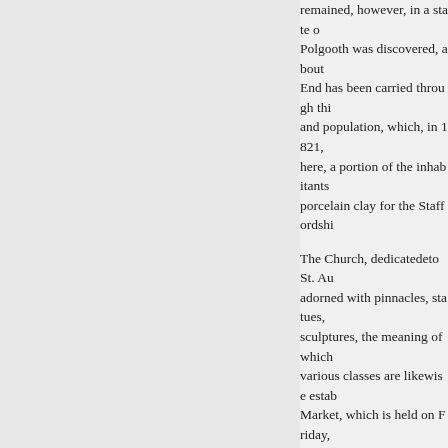remained, however, in a state of Polgooth was discovered, about End has been carried through thi and population, which, in 1821, here, a portion of the inhabitants porcelain clay for the Staffordshi
The Church, dedicatedeto St. Au adorned with pinnacles, statues, sculptures, the meaning of which various classes are likewise esta Market, which is held on Friday, much benefited by the bolding o
The Blowing Houses, in which th this town, and are worthy of atte number of persons are employed degree.
About four miles from St. Austle landing place of Bishop Blaize, t observed in several places, on th is distinguished for the splendou and his introduction of the wooll consider that the date of his mart about 1000 years afterwards.